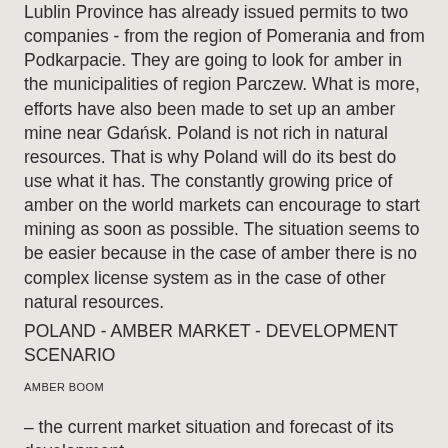Lublin Province has already issued permits to two companies - from the region of Pomerania and from Podkarpacie. They are going to look for amber in the municipalities of region Parczew. What is more, efforts have also been made to set up an amber mine near Gdańsk. Poland is not rich in natural resources. That is why Poland will do its best do use what it has. The constantly growing price of amber on the world markets can encourage to start mining as soon as possible. The situation seems to be easier because in the case of amber there is no complex license system as in the case of other natural resources.
POLAND - AMBER MARKET - DEVELOPMENT SCENARIO
AMBER BOOM
– the current market situation and forecast of its development